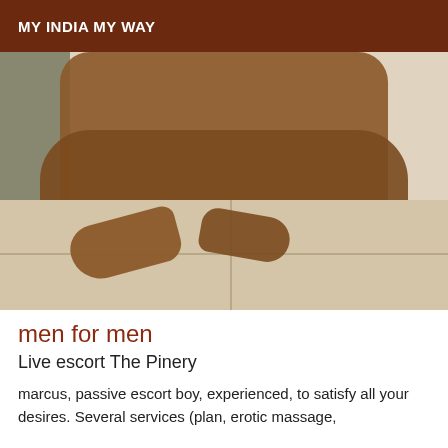MY INDIA MY WAY
[Figure (photo): A person sitting cross-legged on a tiled floor, only the lower body visible, with anklets on feet.]
men for men
Live escort The Pinery
marcus, passive escort boy, experienced, to satisfy all your desires. Several services (plan, erotic massage,